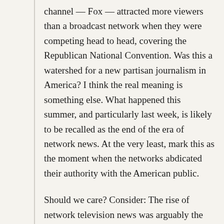channel — Fox — attracted more viewers than a broadcast network when they were competing head to head, covering the Republican National Convention. Was this a watershed for a new partisan journalism in America? I think the real meaning is something else. What happened this summer, and particularly last week, is likely to be recalled as the end of the era of network news. At the very least, mark this as the moment when the networks abdicated their authority with the American public.
Should we care? Consider: The rise of network television news was arguably the most important development in American politics in the latter half of the 20th century. The arrival of news divisions in the 1950s and '60s meant that for the first time citizens could regularly see events for themselves. Within a remarkably short time, nearly everything about the way we elected our leaders changed.